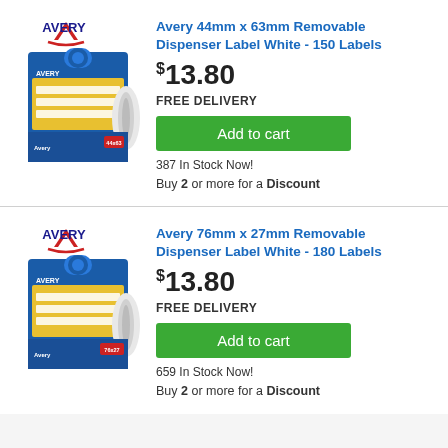[Figure (photo): Avery product box with label dispenser roll - first product]
Avery 44mm x 63mm Removable Dispenser Label White - 150 Labels
$13.80
FREE DELIVERY
Add to cart
387 In Stock Now!
Buy 2 or more for a Discount
[Figure (photo): Avery product box with label dispenser roll - second product]
Avery 76mm x 27mm Removable Dispenser Label White - 180 Labels
$13.80
FREE DELIVERY
Add to cart
659 In Stock Now!
Buy 2 or more for a Discount